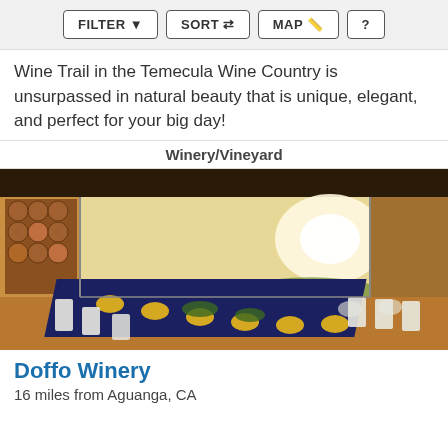FILTER | SORT | MAP | ?
Wine Trail in the Temecula Wine Country is unsurpassed in natural beauty that is unique, elegant, and perfect for your big day!
Winery/Vineyard
[Figure (photo): Interior of a winery event space with long tables set for a formal dinner, white folding chairs, navy blue tablecloths, gold charger plates, and wine barrels along the wall. Large windows show a scenic vineyard sunset view.]
Doffo Winery
16 miles from Aguanga, CA